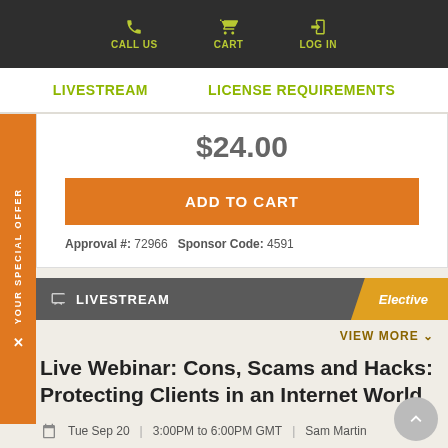CALL US  CART  LOG IN
LIVESTREAM  LICENSE REQUIREMENTS
$24.00
ADD TO CART
Approval #: 72966  Sponsor Code: 4591
LIVESTREAM  Elective
VIEW MORE
Live Webinar: Cons, Scams and Hacks: Protecting Clients in an Internet World
Tue Sep 20  |  3:00PM to 6:00PM GMT  |  Sam Martin